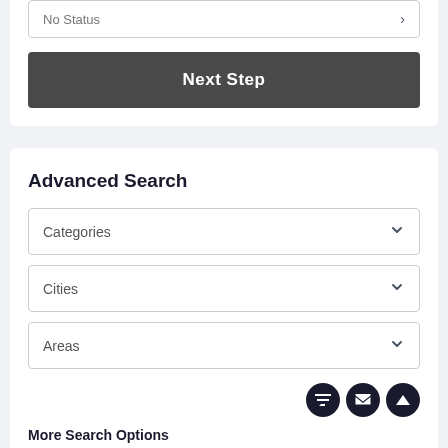[Figure (screenshot): Status dropdown field showing 'No Status' with a chevron arrow on right]
Next Step
Advanced Search
Categories
Cities
Areas
More Search Options